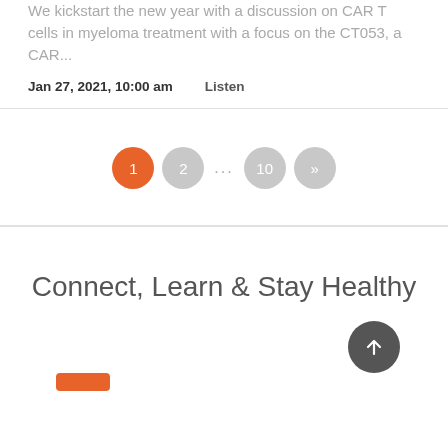We kickstart the new year with a discussion on CAR T cells in myeloma treatment with a focus on the CT053, a CAR...
Jan 27, 2021, 10:00 am    Listen
[Figure (other): Pagination controls showing page 1 (active, orange), page 2, ellipsis, page 10, and next arrow button]
Connect, Learn & Stay Healthy
[Figure (other): Orange rounded rectangle tab at bottom left, and a dark circular back-to-top arrow button at bottom right]